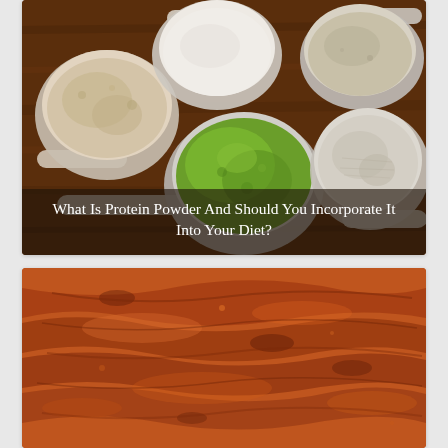[Figure (photo): Top-down view of five measuring cups/scoops filled with different protein powders (beige/tan, white, green, grey-green, oat-colored) on a dark wooden surface. Text overlay reads: What Is Protein Powder And Should You Incorporate It Into Your Diet?]
What Is Protein Powder And Should You Incorporate It Into Your Diet?
[Figure (photo): Close-up photograph of cooked, glazed or caramelized meat (appears to be chicken or pork) with a rich brown/orange color and visible texture.]